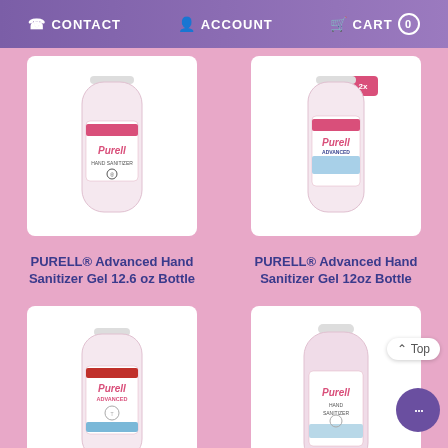CONTACT  ACCOUNT  CART 0
[Figure (photo): PURELL Advanced Hand Sanitizer Gel 12.6 oz Bottle product image]
PURELL® Advanced Hand Sanitizer Gel 12.6 oz Bottle
[Figure (photo): PURELL Advanced Hand Sanitizer Gel 12oz Bottle product image]
PURELL® Advanced Hand Sanitizer Gel 12oz Bottle
[Figure (photo): PURELL Advanced Hand Sanitizer Gel 2oz Bottle product image]
PURELL® Advanced Hand Sanitizer Gel 2oz Bottle
[Figure (photo): PURELL Advanced Hand Sanitizer Gel 34 oz (1L) Bottle product image]
PURELL® Advanced Hand Sanitizer Gel 34 oz (1L) Bottle